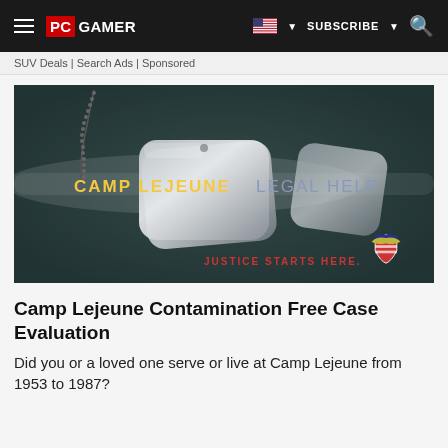PC GAMER | SUBSCRIBE | Search
SUV Deals | Search Ads | Sponsored
[Figure (photo): Military dog tags on dark teal leather background with text 'CAMP LEJEUNE LEGAL HELP' and 'JUSTICE STARTS HERE' with an eagle shield logo]
Camp Lejeune Contamination Free Case Evaluation
Did you or a loved one serve or live at Camp Lejeune from 1953 to 1987?